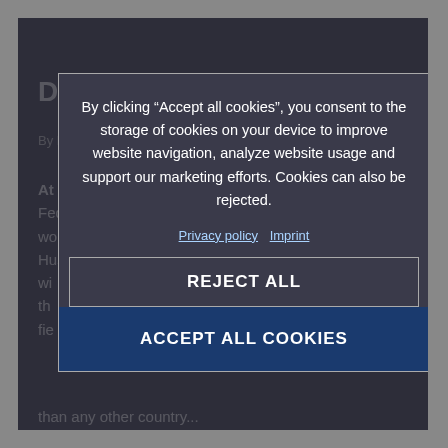Double world champion
By Kenneth Olausson
At the beginning of the 60s the Swedish Motorcycle Federation, SVEMO, had a wish – to have at least one world champion per season in motocross. In 1962 Husuvarna had won both the 250 and 500 cc classes wi... th... fie...
By clicking “Accept all cookies”, you consent to the storage of cookies on your device to improve website navigation, analyze website usage and support our marketing efforts. Cookies can also be rejected.
Privacy policy  Imprint
REJECT ALL
ACCEPT ALL COOKIES
than any other country...